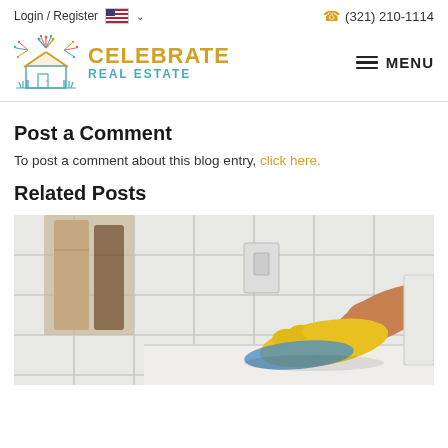Login / Register  (321) 210-1114
[Figure (logo): Celebrate Real Estate logo with house and fireworks illustration]
Post a Comment
To post a comment about this blog entry, click here.
Related Posts
[Figure (photo): Person wearing yellow rubber gloves cleaning a bathroom surface with a blue cloth, towels hanging on wall in background]